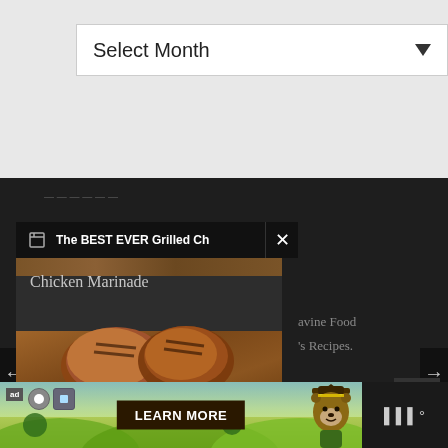[Figure (screenshot): Dropdown UI element with 'Select Month' text and down arrow]
[Figure (screenshot): Dark background section of a webpage with a video popup showing 'The BEST EVER Grilled Ch' title bar with close button, and a food photo of grilled chicken on a wooden cutting board with chalkboard sign reading 'Chicken Marinade'. Partial text visible: 'avine Food' and 's Recipes.' Navigation arrows on sides. Scroll-up button. Ad banner at bottom with 'LEARN MORE' button and Smokey Bear illustration.]